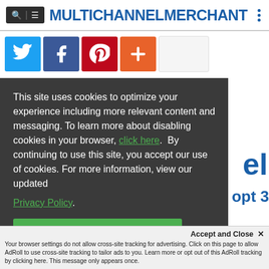MULTICHANNEL MERCHANT
[Figure (screenshot): Social share buttons: Twitter, Facebook, Pinterest, Plus, and empty button]
This site uses cookies to optimize your experience including more relevant content and messaging. To learn more about disabling cookies in your browser, click here. By continuing to use this site, you accept our use of cookies. For more information, view our updated Privacy Policy.
I Consent
Accept and Close ✕
Your browser settings do not allow cross-site tracking for advertising. Click on this page to allow AdRoll to use cross-site tracking to tailor ads to you. Learn more or opt out of this AdRoll tracking by clicking here. This message only appears once.